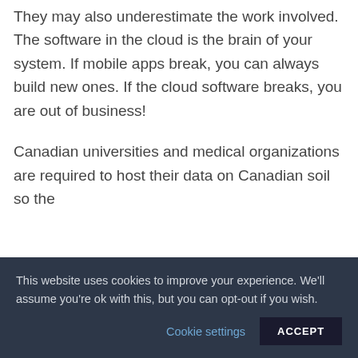They may also underestimate the work involved. The software in the cloud is the brain of your system. If mobile apps break, you can always build new ones. If the cloud software breaks, you are out of business!
Canadian universities and medical organizations are required to host their data on Canadian soil so the
This website uses cookies to improve your experience. We'll assume you're ok with this, but you can opt-out if you wish.
Cookie settings
ACCEPT